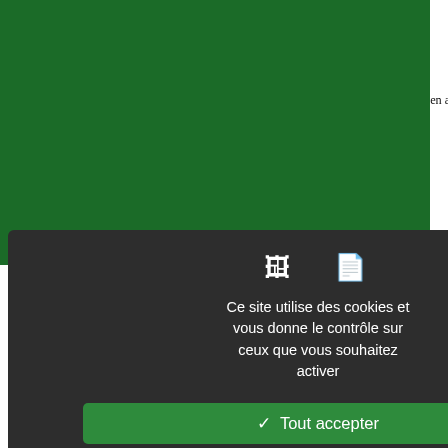sets out the general principles of m... has in mind an Avicennian physician medicine and deduce its corollary p... others have need of but he is able to
28  While Ibn Abī Ṣādiq's debt to Galen a... divergences suggest to me that Ibn A... to the philosophical sciences was str... e was Avicenna's student, or beca... 'ilm) had come to exert a strong i... ādiq's intellectual milieu. The resp... āda]", which is on display in Baġda... wept aside in Avicennian style by... relevant. Ibn Abī Ṣādiq argues th... tructure of philosophical practice, th... rinciples. In addition, he emphas... nowledge in a manner that recalls... nique ability to unerringly hit on... ntroduction to his Aphorisms-comm... hould be one of the philosoph... ommentary practices, a large litera... uch as Ibn al-Ṭayyib and Ibn ʿAdī,... hilosophical sciences are distinguis... ubject matter (mawḍūʿ). Noticeab... hilosophers is medicine, which was...
Ce site utilise des cookies et vous donne le contrôle sur ceux que vous souhaitez activer
✓ Tout accepter
✗ Tout refuser
Personnaliser
Politique de confidentialité